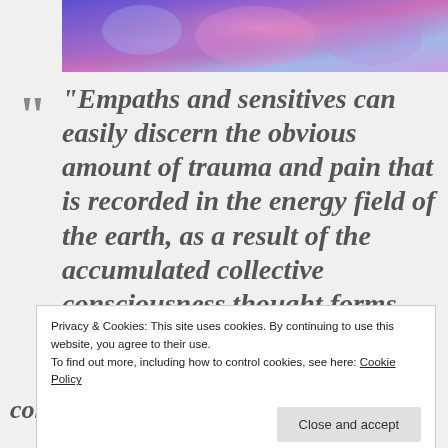[Figure (illustration): Colorful abstract spiritual banner image with purple, pink, and blue hues at the top of the page]
“Empaths and sensitives can easily discern the obvious amount of trauma and pain that is recorded in the energy field of the earth, as a result of the accumulated collective consciousness thought forms being directed into anti-human values and
Privacy & Cookies: This site uses cookies. By continuing to use this website, you agree to their use.
To find out more, including how to control cookies, see here: Cookie Policy
consciousness dream that is taking